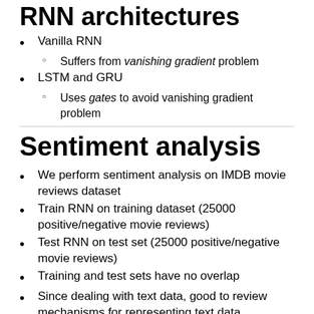RNN architectures
Vanilla RNN
Suffers from vanishing gradient problem
LSTM and GRU
Uses gates to avoid vanishing gradient problem
Sentiment analysis
We perform sentiment analysis on IMDB movie reviews dataset
Train RNN on training dataset (25000 positive/negative movie reviews)
Test RNN on test set (25000 positive/negative movie reviews)
Training and test sets have no overlap
Since dealing with text data, good to review mechanisms for representing text data